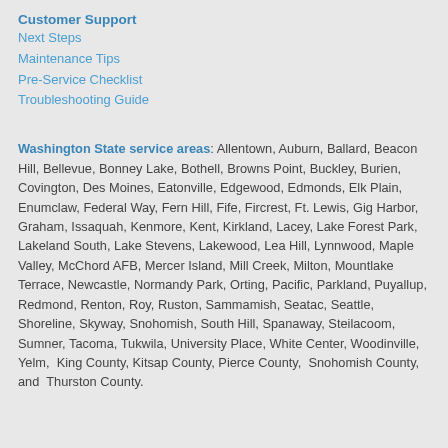Customer Support
Next Steps
Maintenance Tips
Pre-Service Checklist
Troubleshooting Guide
Washington State service areas: Allentown, Auburn, Ballard, Beacon Hill, Bellevue, Bonney Lake, Bothell, Browns Point, Buckley, Burien, Covington, Des Moines, Eatonville, Edgewood, Edmonds, Elk Plain, Enumclaw, Federal Way, Fern Hill, Fife, Fircrest, Ft. Lewis, Gig Harbor, Graham, Issaquah, Kenmore, Kent, Kirkland, Lacey, Lake Forest Park, Lakeland South, Lake Stevens, Lakewood, Lea Hill, Lynnwood, Maple Valley, McChord AFB, Mercer Island, Mill Creek, Milton, Mountlake Terrace, Newcastle, Normandy Park, Orting, Pacific, Parkland, Puyallup, Redmond, Renton, Roy, Ruston, Sammamish, Seatac, Seattle, Shoreline, Skyway, Snohomish, South Hill, Spanaway, Steilacoom, Sumner, Tacoma, Tukwila, University Place, White Center, Woodinville, Yelm, King County, Kitsap County, Pierce County, Snohomish County, and Thurston County.